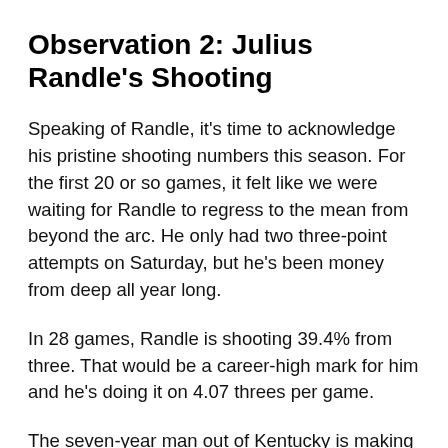Observation 2: Julius Randle's Shooting
Speaking of Randle, it's time to acknowledge his pristine shooting numbers this season. For the first 20 or so games, it felt like we were waiting for Randle to regress to the mean from beyond the arc. He only had two three-point attempts on Saturday, but he's been money from deep all year long.
In 28 games, Randle is shooting 39.4% from three. That would be a career-high mark for him and he's doing it on 4.07 threes per game.
The seven-year man out of Kentucky is making vast